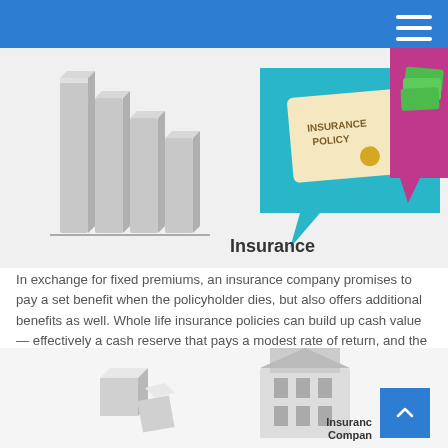[Figure (illustration): Top banner illustration showing bar chart-like 3D columns on left, an insurance policy document on a teal speech bubble in center, and cash/money on a pink speech bubble on right.]
Insurance
In exchange for fixed premiums, an insurance company promises to pay a set benefit when the policyholder dies, but also offers additional benefits as well. Whole life insurance policies can build up cash value — effectively a cash reserve that pays a modest rate of return, and the growth is tax-deferred. Guarantees are based on the claims-paying ability of the issuing company.
[Figure (illustration): Bottom strip showing 3D cubes on the left and a building/house illustration in center, with a blue scroll-to-top button and Insurance Company label on right.]